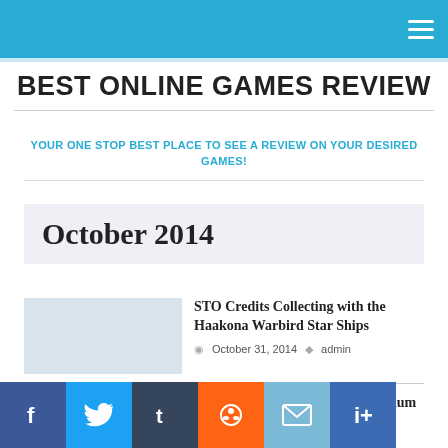BEST ONLINE GAMES REVIEW — Navigation bar with hamburger menu
BEST ONLINE GAMES REVIEW
YOUR ONE STOP BEST PLACE TO SEE A REVIEW ON YOUR DESIRED GAMES!
October 2014
STO Credits Collecting with the Haakona Warbird Star Ships
October 31, 2014  admin
Lore of Swamp: EverQuest Platinum Hunting
October 31, 2014  editor